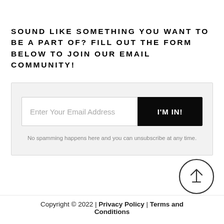SOUND LIKE SOMETHING YOU WANT TO BE A PART OF? FILL OUT THE FORM BELOW TO JOIN OUR EMAIL COMMUNITY!
Enter Your Email Address | I'M IN!
No spamming happens here and you can unsubscribe at any time.
[Figure (illustration): Circular arrow-up button (back to top)]
Copyright © 2022 | Privacy Policy | Terms and Conditions